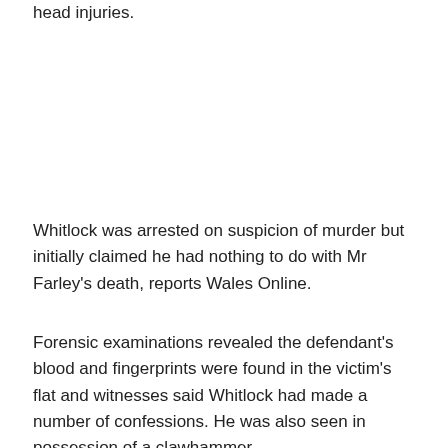head injuries.
Whitlock was arrested on suspicion of murder but initially claimed he had nothing to do with Mr Farley's death, reports Wales Online.
Forensic examinations revealed the defendant's blood and fingerprints were found in the victim's flat and witnesses said Whitlock had made a number of confessions. He was also seen in possession of a clawhammer.